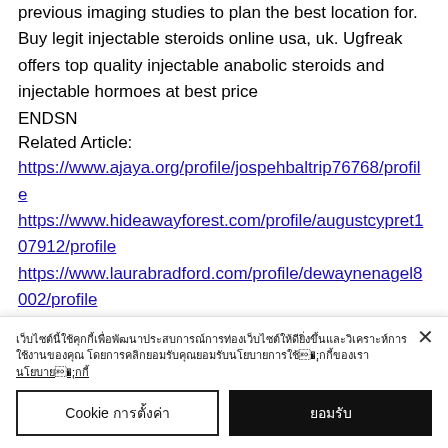previous imaging studies to plan the best location for. Buy legit injectable steroids online usa, uk. Ugfreak offers top quality injectable anabolic steroids and injectable hormoes at best price
ENDSN
Related Article:
https://www.ajaya.org/profile/jospehbaltrip76768/profile
https://www.hideawayforest.com/profile/augustcypret107912/profile
https://www.laurabradford.com/profile/dewaynenagel8002/profile
https://www.n30pesquisas.com/profile/juniorboldizsar52150/profile
[cookie notice text in Thai] [link]
Cookie การตั้งค่า / ยอมรับ